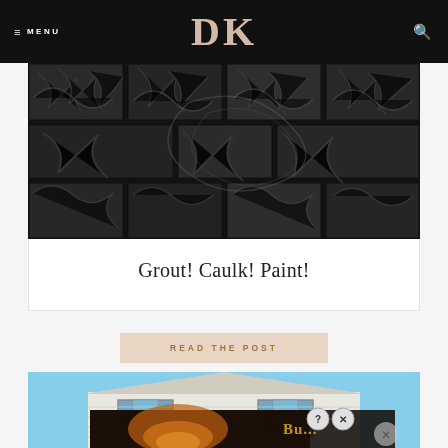≡ MENU  DK  🔍
[Figure (photo): Close-up of painted subway tiles with brushstroke texture pattern in black and grey tones, arranged in a brick-like grid]
Grout! Caulk! Paint!
READ THE POST
[Figure (photo): Exterior of a white house with blue shuttered windows, partially visible. Advertisement overlay at bottom showing a fiery image with text 'Bu...' and help/close icons.]